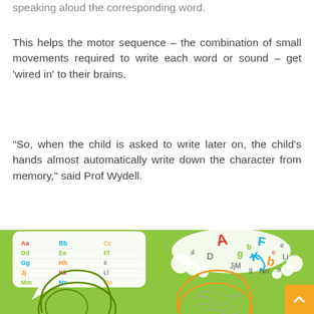speaking aloud the corresponding word.
This helps the motor sequence – the combination of small movements required to write each word or sound – get 'wired in' to their brains.
“So, when the child is asked to write later on, the child's hands almost automatically write down the character from memory,” said Prof Wydell.
[Figure (illustration): Educational illustration showing two side-by-side head/brain diagrams on a green background. Left side shows an organised alphabet chart (Aa Bb Cc, Dd Ee Ff, Gg Hh Ii, Jj Kk Ll, Mm Nn Oo) in a speech bubble above a green cartoon brain silhouette. Right side shows a thought bubble with scrambled/jumbled colorful letters above an orange cartoon brain silhouette with tangled lines inside representing memory/learning connections.]